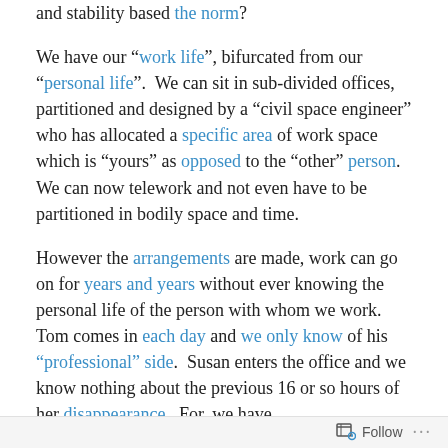and stability based the norm?
We have our “work life”, bifurcated from our “personal life”.  We can sit in sub-divided offices, partitioned and designed by a “civil space engineer” who has allocated a specific area of work space which is “yours” as opposed to the “other” person.  We can now telework and not even have to be partitioned in bodily space and time.
However the arrangements are made, work can go on for years and years without ever knowing the personal life of the person with whom we work.  Tom comes in each day and we only know of his “professional” side.  Susan enters the office and we know nothing about the previous 16 or so hours of her disappearance.  For, we have
Follow